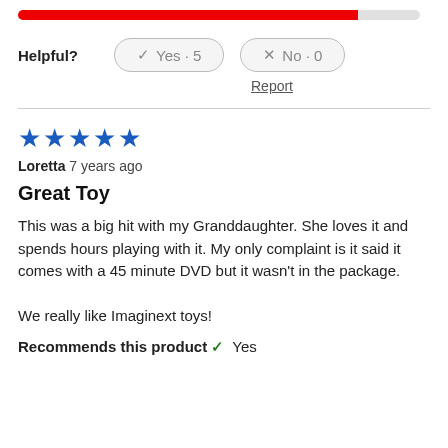[Figure (other): Rating bar showing mostly red filled portion with small gray empty portion at the right]
Helpful?   ✓ Yes · 5   ✗ No · 0
Report
★★★★★
Loretta 7 years ago
Great Toy
This was a big hit with my Granddaughter. She loves it and spends hours playing with it. My only complaint is it said it comes with a 45 minute DVD but it wasn't in the package.

We really like Imaginext toys!
Recommends this product ✓ Yes